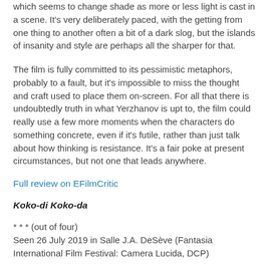which seems to change shade as more or less light is cast in a scene. It's very deliberately paced, with the getting from one thing to another often a bit of a dark slog, but the islands of insanity and style are perhaps all the sharper for that.
The film is fully committed to its pessimistic metaphors, probably to a fault, but it's impossible to miss the thought and craft used to place them on-screen. For all that there is undoubtedly truth in what Yerzhanov is upt to, the film could really use a few more moments when the characters do something concrete, even if it's futile, rather than just talk about how thinking is resistance. It's a fair poke at present circumstances, but not one that leads anywhere.
Full review on EFilmCritic
Koko-di Koko-da
* * * (out of four)
Seen 26 July 2019 in Salle J.A. DeSève (Fantasia International Film Festival: Camera Lucida, DCP)